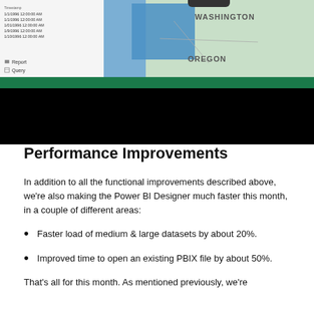[Figure (screenshot): Screenshot of Power BI Designer interface showing a data table on the left with timestamps and a map of Washington/Oregon states on the right, with a green bar and black bar at the bottom of the screenshot area.]
Performance Improvements
In addition to all the functional improvements described above, we’re also making the Power BI Designer much faster this month, in a couple of different areas:
Faster load of medium & large datasets by about 20%.
Improved time to open an existing PBIX file by about 50%.
That’s all for this month. As mentioned previously, we’re